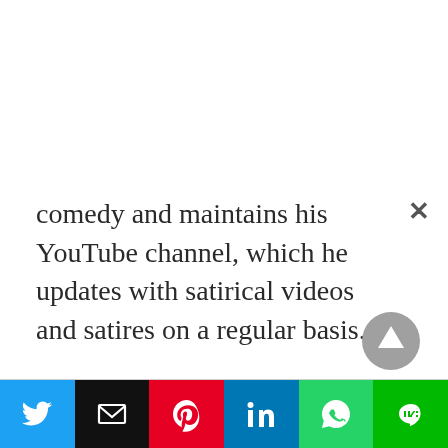comedy and maintains his YouTube channel, which he updates with satirical videos and satires on a regular basis.
[Figure (other): Scroll-to-top button: circular grey arrow pointing up]
[Figure (other): Social share bar with Twitter, Email, Pinterest, LinkedIn, WhatsApp, and LINE buttons]